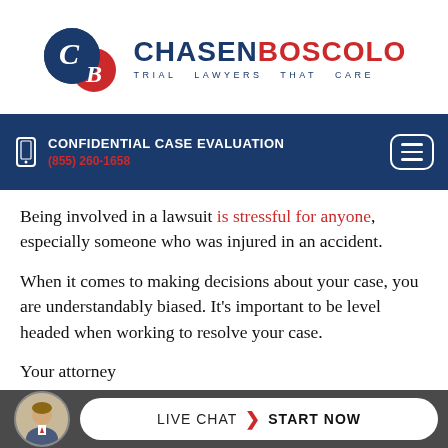[Figure (logo): Chasen Boscolo law firm logo with CB circular icon and text 'TRIAL LAWYERS THAT CARE']
CONFIDENTIAL CASE EVALUATION (855) 260-1658
Being involved in a lawsuit is stressful for anyone, especially someone who was injured in an accident.
When it comes to making decisions about your case, you are understandably biased. It's important to be level headed when working to resolve your case.
Your attorney ...he
[Figure (infographic): Live chat bar at bottom with attorney avatar and 'LIVE CHAT > START NOW' pill button]